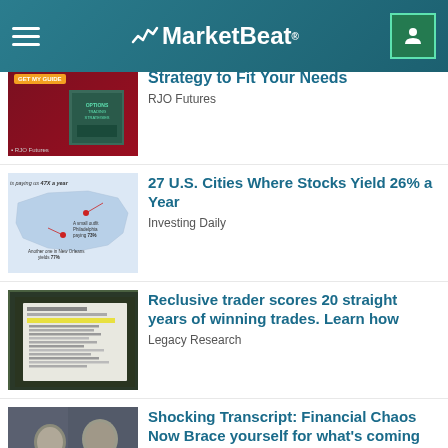MarketBeat
[Figure (screenshot): Thumbnail for RJO Futures options trading strategies guide ad]
Strategy to Fit Your Needs
RJO Futures
[Figure (illustration): Map of US showing cities paying high yields, annotated with Philadelphia paying 73%, Another one in New Orleans, text 'is paying us 47X a year']
27 U.S. Cities Where Stocks Yield 26% a Year
Investing Daily
[Figure (screenshot): Screenshot of a document or slide listing chapters/lessons on dark background]
Reclusive trader scores 20 straight years of winning trades. Learn how
Legacy Research
[Figure (photo): Photo of two men in a room, one with grey hair, with a blue play button overlay]
Shocking Transcript: Financial Chaos Now Brace yourself for what's coming next